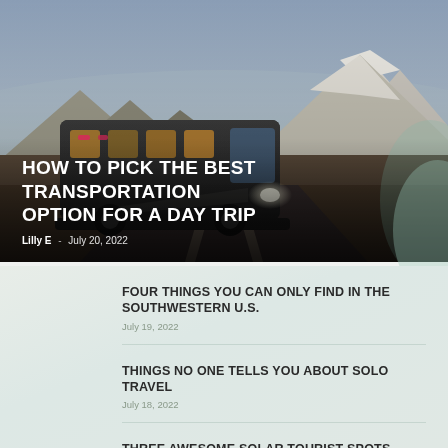[Figure (photo): A bus with illuminated interior headlights driving through a mountainous landscape at dusk with snow-capped mountains in the background and a moody bluish-grey sky]
HOW TO PICK THE BEST TRANSPORTATION OPTION FOR A DAY TRIP
Lilly E  -  July 20, 2022
FOUR THINGS YOU CAN ONLY FIND IN THE SOUTHWESTERN U.S.
July 19, 2022
THINGS NO ONE TELLS YOU ABOUT SOLO TRAVEL
July 18, 2022
THREE AWESOME SOLAR TOURIST SPOTS